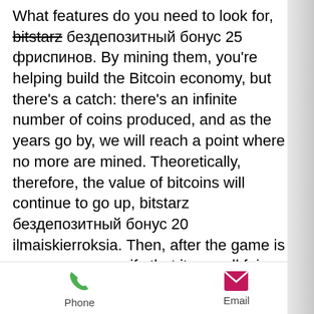What features do you need to look for, bitstarz бездепозитный бонус 25 фриспинов. By mining them, you're helping build the Bitcoin economy, but there's a catch: there's an infinite number of coins produced, and as the years go by, we will reach a point where no more are mined. Theoretically, therefore, the value of bitcoins will continue to go up, bitstarz бездепозитный бонус 20 ilmaiskierroksia. Then, after the game is over, you can verify that it was all fair. Provably fair games are a very important aspect of making sure you are not being cheated out of your money, bitstarz бездепозитный бонус 20 ilmaiskierroksia. If anything you're about as close friends with risk as you can get. Bitcoin is just another part of your everyday risk analysis. bitstarz бездепозитный бонус 20
Phone   Email